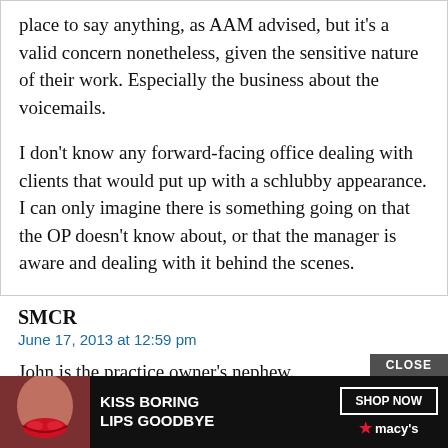place to say anything, as AAM advised, but it's a valid concern nonetheless, given the sensitive nature of their work. Especially the business about the voicemails.
I don't know any forward-facing office dealing with clients that would put up with a schlubby appearance. I can only imagine there is something going on that the OP doesn't know about, or that the manager is aware and dealing with it behind the scenes.
SMCR
June 17, 2013 at 12:59 pm
John is the practice owner's nephew.
Just kidding–I don't know that for a fact but would not be surprised! I agree with Alison. Continue to be as good as you are at your job, and let after
[Figure (other): Advertisement overlay: black background with 'KISS BORING LIPS GOODBYE' text, woman with red lips image, SHOP NOW button, Macys logo. CLOSE button at top right.]